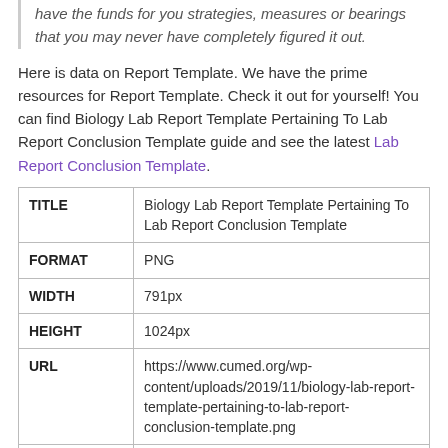have the funds for you strategies, measures or bearings that you may never have completely figured it out.
Here is data on Report Template. We have the prime resources for Report Template. Check it out for yourself! You can find Biology Lab Report Template Pertaining To Lab Report Conclusion Template guide and see the latest Lab Report Conclusion Template.
|  |  |
| --- | --- |
| TITLE | Biology Lab Report Template Pertaining To Lab Report Conclusion Template |
| FORMAT | PNG |
| WIDTH | 791px |
| HEIGHT | 1024px |
| URL | https://www.cumed.org/wp-content/uploads/2019/11/biology-lab-report-template-pertaining-to-lab-report-conclusion-template.png |
| PUBLISHED |  |